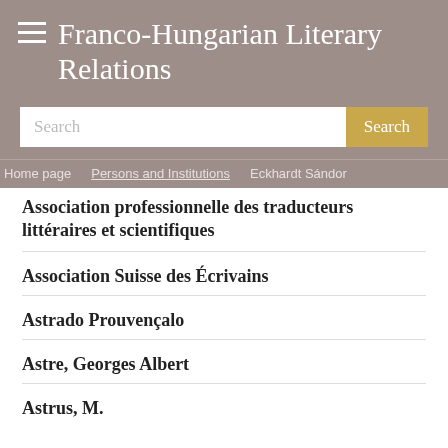Franco-Hungarian Literary Relations
Search
Home page / Persons and Institutions / Eckhardt Sándor
Association professionnelle des traducteurs littéraires et scientifiques
Association Suisse des Écrivains
Astrado Prouvençalo
Astre, Georges Albert
Astrus, M.